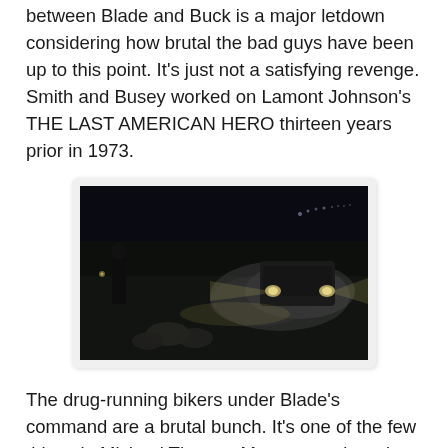between Blade and Buck is a major letdown considering how brutal the bad guys have been up to this point. It's just not a satisfying revenge. Smith and Busey worked on Lamont Johnson's THE LAST AMERICAN HERO thirteen years prior in 1973.
[Figure (photo): A dark nighttime scene showing a vehicle with headlights on a dirt or gravel area with dust/smoke and a figure visible on the left side.]
The drug-running bikers under Blade's command are a brutal bunch. It's one of the few things in Michael Thomas Montgomery's script that's suitably elaborated on. Their itinerary consists of drive-by shooting in broad daylight, raping, and violating graves. Technically these guys aren't a biker gang,